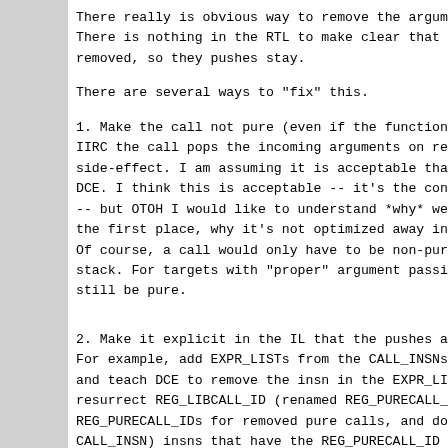There really is obvious way to remove the argument p. There is nothing in the RTL to make clear that the p removed, so they pushes stay.
There are several ways to "fix" this.
1. Make the call not pure (even if the function is t IIRC the call pops the incoming arguments on return, side-effect. I am assuming it is acceptable that the DCE.  I think this is acceptable -- it's the consequ -- but OTOH I would like to understand *why* we end the first place, why it's not optimized away in the Of course, a call would only have to be non-pure if stack.  For targets with "proper" argument passing v still be pure.
2. Make it explicit in the IL that the pushes are in For example, add EXPR_LISTs from the CALL_INSNs to t and teach DCE to remove the insn in the EXPR_LIST wh resurrect REG_LIBCALL_ID (renamed REG_PURECALL_ID), REG_PURECALL_IDs for removed pure calls, and do a se CALL_INSN) insns that have the REG_PURECALL_ID of a This assumes that we can always remove the outgoing is removed.  I'm not sure if this is true (is it con such a way that other insns would depend on the argu
Personally, I'm strongly in favor of option 1.